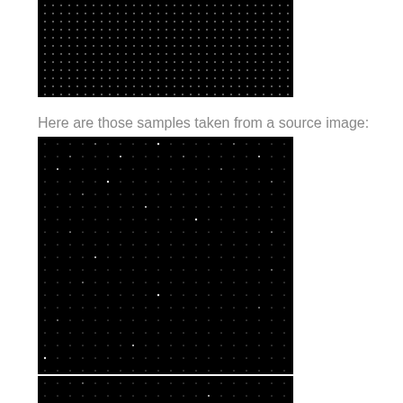[Figure (other): Black image with white dot/noise pattern arranged in a grid, top portion of page]
Here are those samples taken from a source image:
[Figure (other): Black image with sparse white dot/noise pattern arranged in a grid, larger middle section]
[Figure (other): Black image with white dot/noise pattern, bottom portion partially visible]